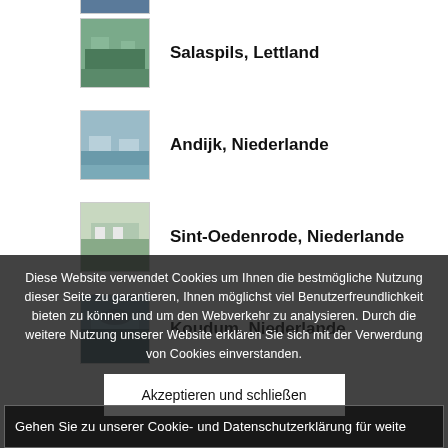[Figure (photo): Partial thumbnail image at top, building exterior]
Salaspils, Lettland
Andijk, Niederlande
Sint-Oedenrode, Niederlande
Koudum, Niederlande
Diese Website verwendet Cookies um Ihnen die bestmögliche Nutzung dieser Seite zu garantieren, Ihnen möglichst viel Benutzerfreundlichkeit bieten zu können und um den Webverkehr zu analysieren. Durch die weitere Nutzung unserer Website erklären Sie sich mit der Verwerdung von Cookies einverstanden.
Akzeptieren und schließen
Gehen Sie zu unserer Cookie- und Datenschutzerklärung für weite